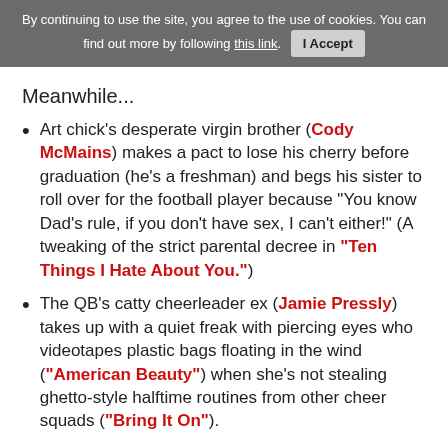By continuing to use the site, you agree to the use of cookies. You can find out more by following this link. I Accept
Meanwhile...
Art chick's desperate virgin brother (Cody McMains) makes a pact to lose his cherry before graduation (he's a freshman) and begs his sister to roll over for the football player because "You know Dad's rule, if you don't have sex, I can't either!" (A tweaking of the strict parental decree in "Ten Things I Hate About You.")
The QB's catty cheerleader ex (Jamie Pressly) takes up with a quiet freak with piercing eyes who videotapes plastic bags floating in the wind ("American Beauty") when she's not stealing ghetto-style halftime routines from other cheer squads ("Bring It On").